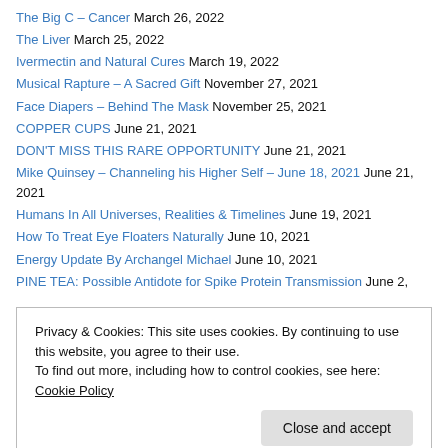The Big C – Cancer March 26, 2022
The Liver March 25, 2022
Ivermectin and Natural Cures March 19, 2022
Musical Rapture – A Sacred Gift November 27, 2021
Face Diapers – Behind The Mask November 25, 2021
COPPER CUPS June 21, 2021
DON'T MISS THIS RARE OPPORTUNITY June 21, 2021
Mike Quinsey – Channeling his Higher Self – June 18, 2021 June 21, 2021
Humans In All Universes, Realities & Timelines June 19, 2021
How To Treat Eye Floaters Naturally June 10, 2021
Energy Update By Archangel Michael June 10, 2021
PINE TEA: Possible Antidote for Spike Protein Transmission June 2,
Privacy & Cookies: This site uses cookies. By continuing to use this website, you agree to their use. To find out more, including how to control cookies, see here: Cookie Policy
Message From The Angels March 8, 2021